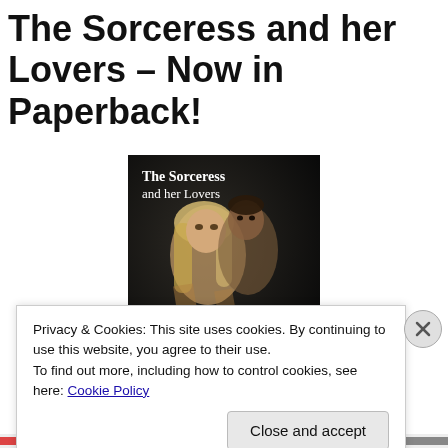The Sorceress and her Lovers – Now in Paperback!
[Figure (illustration): Book cover image for 'The Sorceress and her Lovers' showing a blonde woman and a dark-haired man in a dark, moody setting. Text on cover reads 'The Sorceress and her Lovers'.]
Privacy & Cookies: This site uses cookies. By continuing to use this website, you agree to their use.
To find out more, including how to control cookies, see here: Cookie Policy
Close and accept